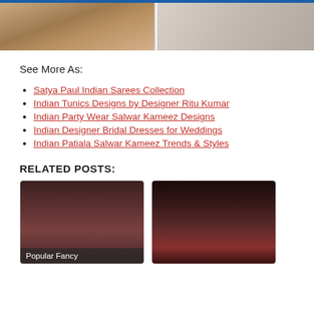[Figure (photo): Two fashion photos at the top: left shows fabric/garment detail, right shows another fashion image]
See More As:
Satya Paul Indian Sarees Collection
Indian Tunics Designs by Designer Ritu Kumar
Indian Party Wear Salwar Kameez Designs
Indian Designer Bridal Dresses for Weddings
Indian Patiala Salwar Kameez Trends & Styles
RELATED POSTS:
[Figure (photo): Related post card: Popular Fancy (woman from back)]
[Figure (photo): Related post card: Man in Indian designer outfit]